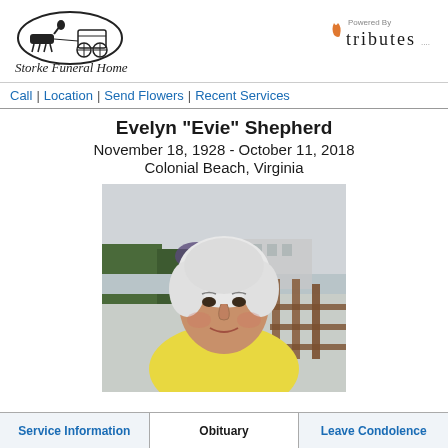[Figure (logo): Storke Funeral Home logo with horse-drawn carriage illustration and cursive text]
[Figure (logo): Powered By tributes logo with flame/candle icon]
Call | Location | Send Flowers | Recent Services
Evelyn "Evie" Shepherd
November 18, 1928 - October 11, 2018
Colonial Beach, Virginia
[Figure (photo): Portrait photo of elderly woman with short white hair wearing a yellow shirt, outdoors near water]
Service Information | Obituary | Leave Condolence